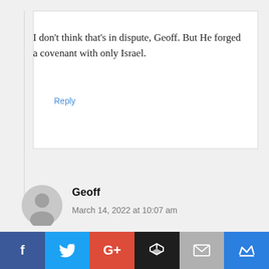I don't think that's in dispute, Geoff. But He forged a covenant with only Israel.
Reply
Geoff
March 14, 2022 at 10:07 am
Wisdom literature (including Job) has much to